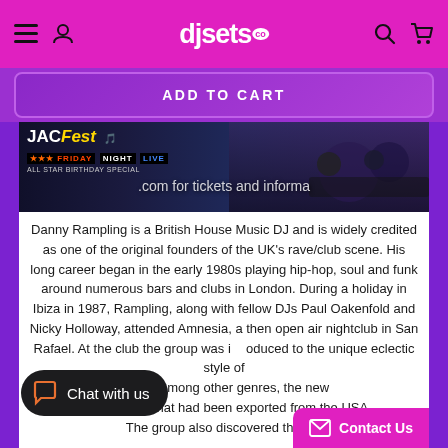djsets.co.uk — navigation header with menu, user, search, cart icons
ADD TO CART
[Figure (photo): JacFest Friday Night Live All Star Birthday Special event banner with DJ equipment in background. URL text overlay: .com for tickets and informa]
Danny Rampling is a British House Music DJ and is widely credited as one of the original founders of the UK's rave/club scene. His long career began in the early 1980s playing hip-hop, soul and funk around numerous bars and clubs in London. During a holiday in Ibiza in 1987, Rampling, along with fellow DJs Paul Oakenfold and Nicky Holloway, attended Amnesia, a then open air nightclub in San Rafael. At the club the group was introduced to the unique eclectic style of DJing, among other genres, the new house music that had been exported from the USA. The group also discovered the mu
Chat with us
Contact Us